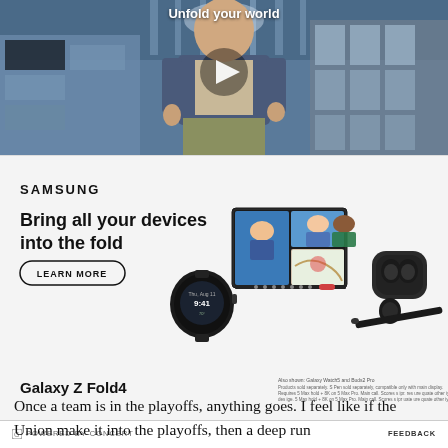[Figure (screenshot): Video thumbnail showing a person walking in a mall/atrium setting with text 'Unfold your world' and a play button overlay]
[Figure (photo): Samsung advertisement for Galaxy Z Fold4 showing Samsung branding, headline 'Bring all your devices into the fold', LEARN MORE button, images of Galaxy Z Fold4, Galaxy Watch5, Buds2 Pro, and S Pen devices]
POWERED BY CONCERT    FEEDBACK
Once a team is in the playoffs, anything goes. I feel like if the Union make it into the playoffs, then a deep run